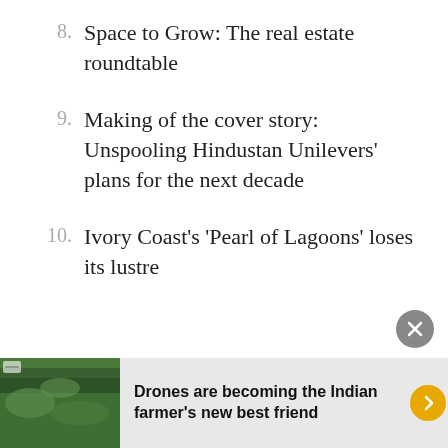8. Space to Grow: The real estate roundtable
9. Making of the cover story: Unspooling Hindustan Unilevers' plans for the next decade
10. Ivory Coast's 'Pearl of Lagoons' loses its lustre
[Figure (photo): Aerial photo of green farmland/forest used as banner image thumbnail]
Drones are becoming the Indian farmer's new best friend